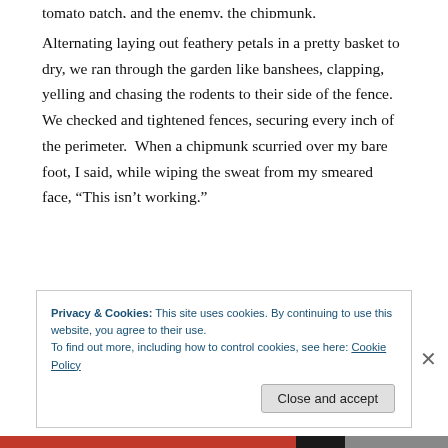tomato patch, and the enemy, the chipmunk.
Alternating laying out feathery petals in a pretty basket to dry, we ran through the garden like banshees, clapping, yelling and chasing the rodents to their side of the fence.  We checked and tightened fences, securing every inch of the perimeter.  When a chipmunk scurried over my bare foot, I said, while wiping the sweat from my smeared face, “This isn’t working.”
Under normal circumstances, neither of us would
Privacy & Cookies: This site uses cookies. By continuing to use this website, you agree to their use.
To find out more, including how to control cookies, see here: Cookie Policy